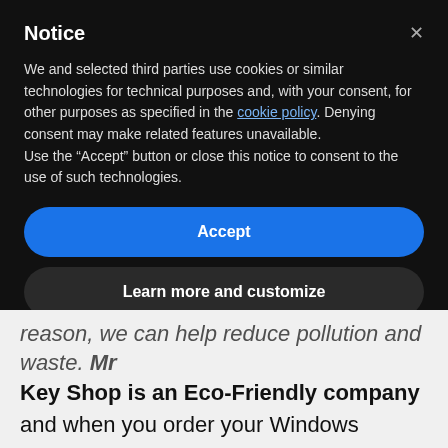Notice
We and selected third parties use cookies or similar technologies for technical purposes and, with your consent, for other purposes as specified in the cookie policy. Denying consent may make related features unavailable.
Use the “Accept” button or close this notice to consent to the use of such technologies.
Accept
Learn more and customize
reason, we can help reduce pollution and waste. Mr Key Shop is an Eco-Friendly company and when you order your Windows Server 2012 RDS CALs from our digital catalog, you also help us protect the environment!